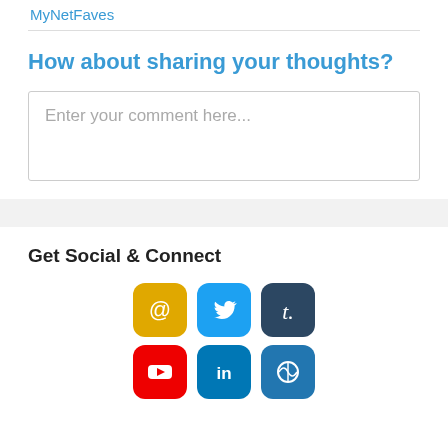MyNetFaves
How about sharing your thoughts?
Enter your comment here...
Get Social & Connect
[Figure (infographic): Six social media icon buttons arranged in two rows: Email (yellow), Twitter (blue), Tumblr (dark blue-gray), YouTube (red), LinkedIn (blue), WordPress (blue)]